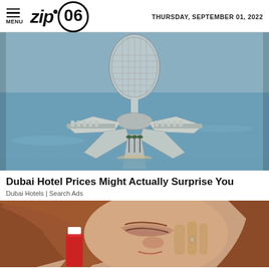MENU | zip06 | THURSDAY, SEPTEMBER 01, 2022
[Figure (photo): Aerial view of a large futuristic hotel structure on a man-made island with star-shaped layout and a central latticed tower, surrounded by water and palm-lined pathways.]
Dubai Hotel Prices Might Actually Surprise You
Dubai Hotels | Search Ads
[Figure (photo): Close-up of a woman's face with reddish-brown hair, eyes closed, holding a red and white object near her face.]